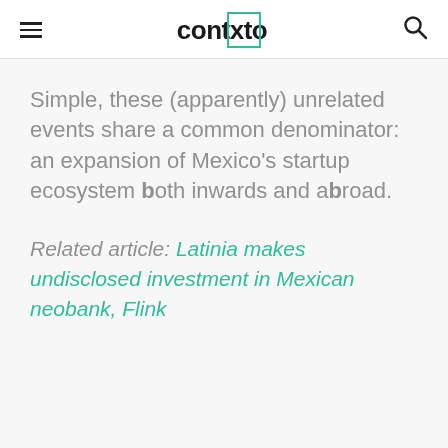contxto
Simple, these (apparently) unrelated events share a common denominator: an expansion of Mexico's startup ecosystem both inwards and abroad.
Related article: Latinia makes undisclosed investment in Mexican neobank, Flink